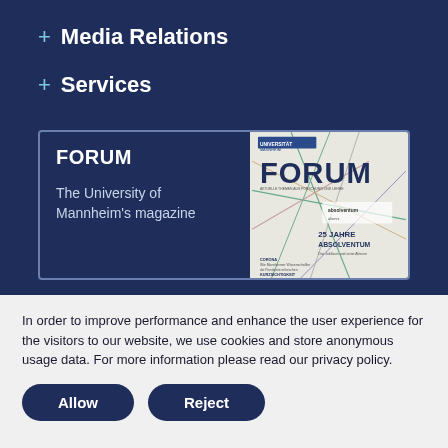+ Media Relations
+ Services
[Figure (other): FORUM magazine card showing the University of Mannheim's magazine with a magazine cover featuring '25 Jahre Absolventum' and geometric line design on a light background]
In order to improve performance and enhance the user experience for the visitors to our website, we use cookies and store anonymous usage data. For more information please read our privacy policy.
Allow   Reject